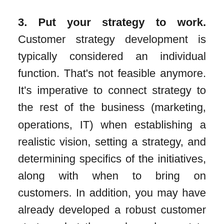3. Put your strategy to work. Customer strategy development is typically considered an individual function. That's not feasible anymore. It's imperative to connect strategy to the rest of the business (marketing, operations, IT) when establishing a realistic vision, setting a strategy, and determining specifics of the initiatives, along with when to bring on customers. In addition, you may have already developed a robust customer strategy, but the roadmap has yet to lead anywhere significant. Connect the dots between strategy and execution with an integrated team.